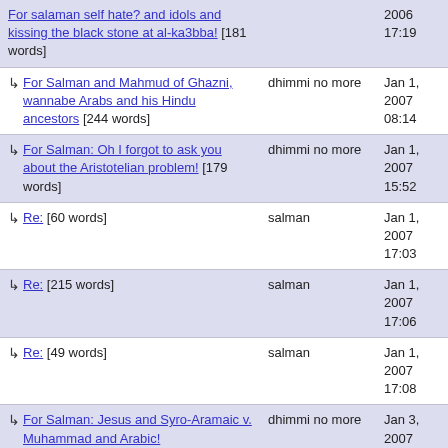| Title | Author | Date |
| --- | --- | --- |
| For salaman self hate? and idols and kissing the black stone at al-ka3bba! [181 words] |  | 2006 17:19 |
| ↳ For Salman and Mahmud of Ghazni, wannabe Arabs and his Hindu ancestors [244 words] | dhimmi no more | Jan 1, 2007 08:14 |
| ↳ For Salman: Oh I forgot to ask you about the Aristotelian problem! [179 words] | dhimmi no more | Jan 1, 2007 15:52 |
| ↳ Re: [60 words] | salman | Jan 1, 2007 17:03 |
| ↳ Re: [215 words] | salman | Jan 1, 2007 17:06 |
| ↳ Re: [49 words] | salman | Jan 1, 2007 17:08 |
| ↳ For Salman: Jesus and Syro-Aramaic v. Muhammad and Arabic! | dhimmi no more | Jan 3, 2007 07:01 |